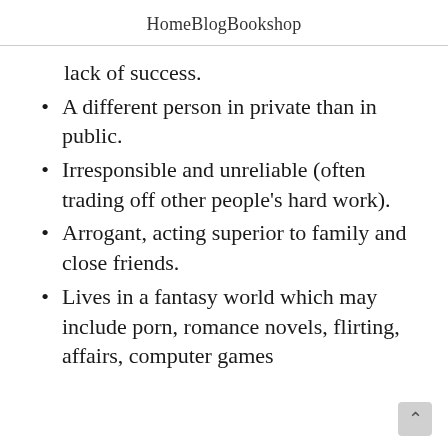Home   Blog   Bookshop
lack of success.
A different person in private than in public.
Irresponsible and unreliable (often trading off other people's hard work).
Arrogant, acting superior to family and close friends.
Lives in a fantasy world which may include porn, romance novels, flirting, affairs, computer games